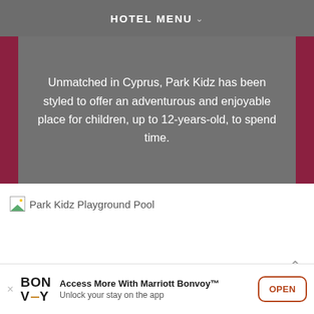HOTEL MENU
Unmatched in Cyprus, Park Kidz has been styled to offer an adventurous and enjoyable place for children, up to 12-years-old, to spend time.
[Figure (photo): Park Kidz Playground Pool - broken image placeholder]
Access More With Marriott Bonvoy™ Unlock your stay on the app